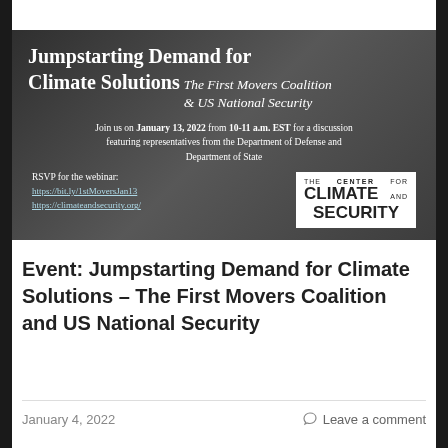[Figure (illustration): Dark banner image showing 'Jumpstarting Demand for Climate Solutions – The First Movers Coalition & US National Security' with event details: Join us on January 13, 2022 from 10-11 a.m. EST for a discussion featuring representatives from the Department of Defense and Department of State. RSVP links and Center for Climate and Security logo.]
Event: Jumpstarting Demand for Climate Solutions – The First Movers Coalition and US National Security
January 4, 2022
Leave a comment